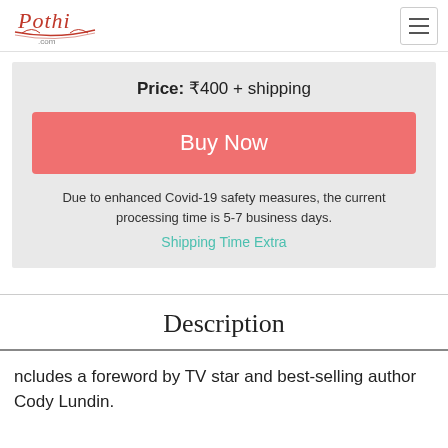[Figure (logo): Pothi.com logo with red script text and decorative underline]
Price: ₹400 + shipping
Buy Now
Due to enhanced Covid-19 safety measures, the current processing time is 5-7 business days.
Shipping Time Extra
Description
ncludes a foreword by TV star and best-selling author Cody Lundin.